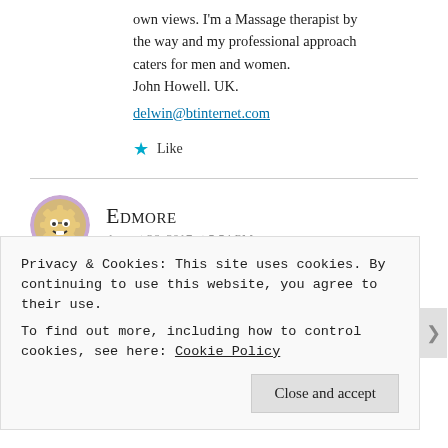own views. I'm a Massage therapist by the way and my professional approach caters for men and women. John Howell. UK. delwin@btinternet.com
Like
Edmore
August 26, 2017 at 5:54 PM
Why can't you go to a massage course
Privacy & Cookies: This site uses cookies. By continuing to use this website, you agree to their use.
To find out more, including how to control cookies, see here: Cookie Policy
Close and accept